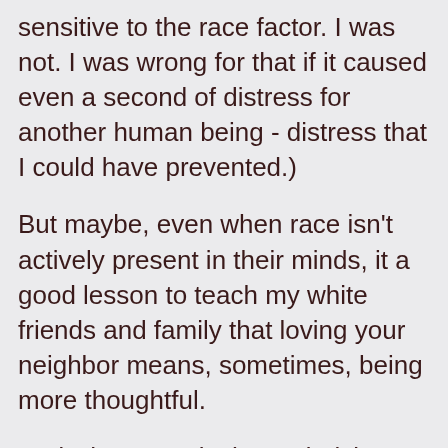sensitive to the race factor. I was not. I was wrong for that if it caused even a second of distress for another human being - distress that I could have prevented.)
But maybe, even when race isn't actively present in their minds, it a good lesson to teach my white friends and family that loving your neighbor means, sometimes, being more thoughtful.
And when race is the underlying factor in subtle racism?